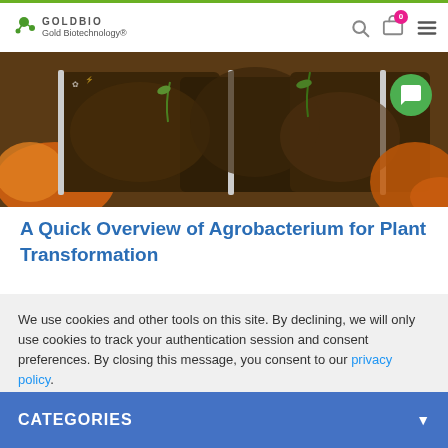GOLDBIO Gold Biotechnology®
[Figure (photo): Hero image showing plant seedlings growing in soil-filled trays, with orange elements visible, and a green chat bubble icon overlay in the top right]
A Quick Overview of Agrobacterium for Plant Transformation
We use cookies and other tools on this site. By declining, we will only use cookies to track your authentication session and consent preferences. By closing this message, you consent to our privacy policy.
CATEGORIES